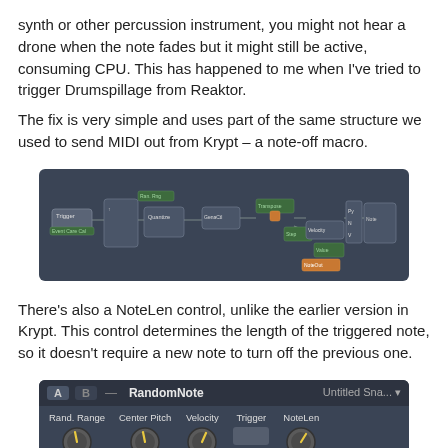synth or other percussion instrument, you might not hear a drone when the note fades but it might still be active, consuming CPU. This has happened to me when I've tried to trigger Drumspillage from Reaktor.
The fix is very simple and uses part of the same structure we used to send MIDI out from Krypt – a note-off macro.
[Figure (screenshot): A dark-themed modular/node-based software diagram showing connected processing blocks on a dark blue-grey background, representing a note-off macro signal chain.]
There's also a NoteLen control, unlike the earlier version in Krypt. This control determines the length of the triggered note, so it doesn't require a new note to turn off the previous one.
[Figure (screenshot): A dark-themed UI panel labeled 'RandomNote' with knobs for Rand. Range, Center Pitch, Velocity, NoteLen and a Trigger button labeled Numeric. The top bar shows A B — RandomNote and Untitled Sna...]